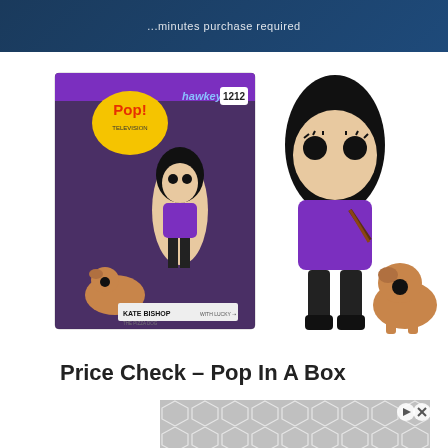[Figure (other): Top dark blue banner with text partially visible: '...minutes purchase required']
[Figure (photo): Funko Pop Hawkeye Kate Bishop #1212 product photo showing the box on the left and the vinyl figure with Lucky the Pizza Dog on the right. Kate Bishop figure wearing purple jacket holding a bow, with a golden dog figure beside her.]
Price Check – Pop In A Box
[Figure (other): Advertisement banner with gray hexagon pattern and play/close icons]